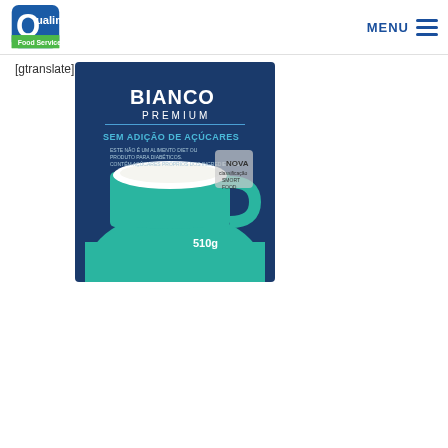[Figure (logo): Qualimax Food Service logo - blue and green rounded square logo with white text]
MENU
[gtranslate]
[Figure (photo): Bianco Premium product box - dark blue box with teal/green mug of white drink, text reads BIANCO PREMIUM SEM ADIÇÃO DE AÇÚCARES, 510g]